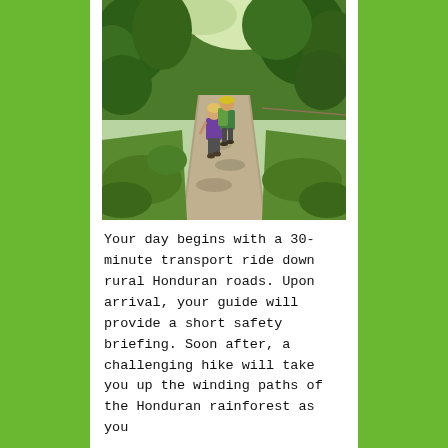[Figure (photo): Two hikers walking up a rocky stone path through a lush green rainforest. One person wears a yellow hard hat and a green backpack, the other wears a purple top. Trees and dense vegetation surround the trail.]
Your day begins with a 30-minute transport ride down rural Honduran roads. Upon arrival, your guide will provide a short safety briefing. Soon after, a challenging hike will take you up the winding paths of the Honduran rainforest as you